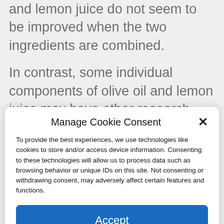and lemon juice do not seem to be improved when the two ingredients are combined.
In contrast, some individual components of olive oil and lemon juice may have other research-backed health benefits. They also form a tasty mixture that you can use in
[Figure (screenshot): Cookie consent modal overlay with title 'Manage Cookie Consent', body text about cookies and data processing, an 'Accept' button, and a 'Cookie Policy' link.]